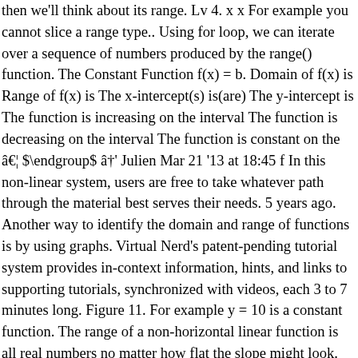then we'll think about its range. Lv 4. x x For example you cannot slice a range type.. Using for loop, we can iterate over a sequence of numbers produced by the range() function. The Constant Function f(x) = b. Domain of f(x) is Range of f(x) is The x-intercept(s) is(are) The y-intercept is The function is increasing on the interval The function is decreasing on the interval The function is constant on the â€¦ $\endgroup$ â†' Julien Mar 21 '13 at 18:45 f In this non-linear system, users are free to take whatever path through the material best serves their needs. 5 years ago. Another way to identify the domain and range of functions is by using graphs. Virtual Nerd's patent-pending tutorial system provides in-context information, hints, and links to supporting tutorials, synchronized with videos, each 3 to 7 minutes long. Figure 11. For example y = 10 is a constant function. The range of a non-horizontal linear function is all real numbers no matter how flat the slope might look. That is, the output value of the function at any input value in its domain is the same, independent of